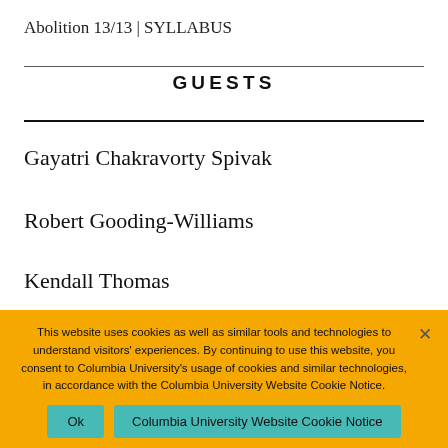Abolition 13/13 | SYLLABUS
GUESTS
Gayatri Chakravorty Spivak
Robert Gooding-Williams
Kendall Thomas
This website uses cookies as well as similar tools and technologies to understand visitors' experiences. By continuing to use this website, you consent to Columbia University's usage of cookies and similar technologies, in accordance with the Columbia University Website Cookie Notice.
Ok    Columbia University Website Cookie Notice